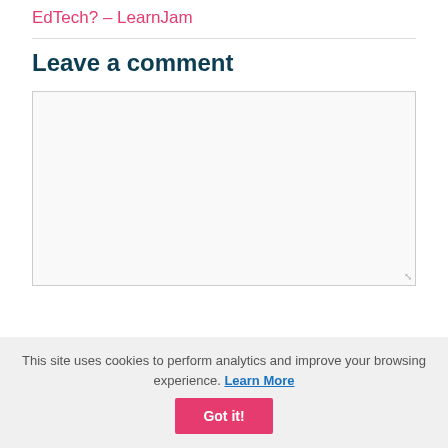EdTech? – LearnJam
Leave a comment
This site uses cookies to perform analytics and improve your browsing experience. Learn More Got it!